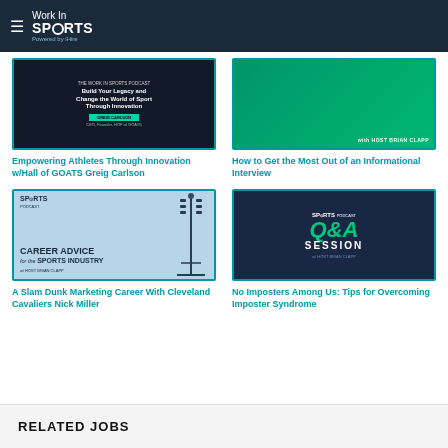Work In Sports - Powered by iHire
[Figure (screenshot): Podcast card image: Empowering Athletes Through Innovation with Greig Carlson, dark background with green accent]
Empowering Athletes Through Innovation w/Hall of GOATS Greig Carlson
[Figure (screenshot): Podcast card image: How to Get the Most Out of an Informational Interview, green background with host Brian Clapp]
How to Get the Most Out of an Informational Interview
[Figure (screenshot): Podcast card image: Career Advice for the Sports Industry, light blue background with stadium lights]
A Slam Dunk Marketing Career With Cleveland Cavaliers Nick Miller
[Figure (screenshot): Podcast card image: Q&A Session, dark blue background with green Q&A text]
No Imposters Among Us: Tips for Overcoming Imposter Syndrome
RELATED JOBS